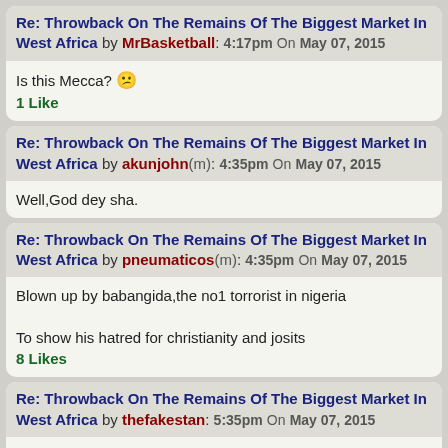Re: Throwback On The Remains Of The Biggest Market In West Africa by MrBasketball: 4:17pm On May 07, 2015
Is this Mecca? 1 Like
Re: Throwback On The Remains Of The Biggest Market In West Africa by akunjohn(m): 4:35pm On May 07, 2015
Well,God dey sha.
Re: Throwback On The Remains Of The Biggest Market In West Africa by pneumaticos(m): 4:35pm On May 07, 2015
Blown up by babangida,the no1 torrorist in nigeria

To show his hatred for christianity and josits
8 Likes
Re: Throwback On The Remains Of The Biggest Market In West Africa by thefakestan: 5:35pm On May 07, 2015
Searching for d market